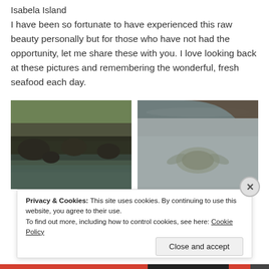Isabela Island
I have been so fortunate to have experienced this raw beauty personally but for those who have not had the opportunity, let me share these with you. I love looking back at these pictures and remembering the wonderful, fresh seafood each day.
[Figure (photo): Rocky coastal landscape with water, volcanic rocks and vegetation in the background]
[Figure (photo): Underwater or water surface view showing a sea turtle swimming]
Privacy & Cookies: This site uses cookies. By continuing to use this website, you agree to their use.
To find out more, including how to control cookies, see here: Cookie Policy
Close and accept